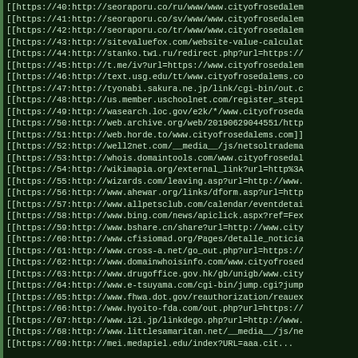[[https://40:http://seoraporu.co/ru/www/www.cityofrosedalem
[[https://41:http://seoraporu.co/sv/www/www.cityofrosedalem
[[https://42:http://seoraporu.co/tr/www/www.cityofrosedalem
[[https://43:http://sitevaluefox.com/website-value-calculat
[[https://44:http://stanko.tw1.ru/redirect.php?url=https://
[[https://45:http://t.me/iv?url=https://www.cityofrosedalem
[[https://46:http://text.usg.edu/tt/www.cityofrosedalems.co
[[https://47:http://tyonabi.sakura.ne.jp/link/cgi-bin/out.c
[[https://48:http://us.member.uschoolnet.com/register_step1
[[https://49:http://wasearch.loc.gov/e2k/*/www.cityofroseda
[[https://50:http://web.archive.org/web/20190629044551/http
[[https://51:http://web.horde.to/www.cityofrosedalems.com]]
[[https://52:http://well2net.com/__media__/js/netsoltradema
[[https://53:http://whois.domaintools.com/www.cityofrosedal
[[https://54:http://wikimapia.org/external_link?url=http%3A
[[https://55:http://wizards.com/leaving.asp?url=http://www.
[[https://56:http://www.ahewar.org/links/dform.asp?url=http
[[https://57:http://www.allpetsclub.com/calendar/eventdetai
[[https://58:http://www.bing.com/news/apiclick.aspx?ref=Fex
[[https://59:http://www.bshare.cn/share?url=http://www.city
[[https://60:http://www.cfisiomad.org/Pages/detalle_noticia
[[https://61:http://www.cross-a.net/go_out.php?url=https://
[[https://62:http://www.domainwhoisinfo.com/www.cityofroseda
[[https://63:http://www.drugoffice.gov.hk/gb/unigb/www.city
[[https://64:http://www.e-tsuyama.com/cgi-bin/jump.cgi?jump
[[https://65:http://www.fhwa.dot.gov/reauthorization/reaex
[[https://66:http://www.hyoito-fda.com/out.php?url=https://
[[https://67:http://www.i2i.jp/linkdego.php?url=http://www.
[[https://68:http://www.littlesamaritan.net/__media__/js/ne
[[https://69:http://mei.medapiel.edu/index?URL=aaa.cit...